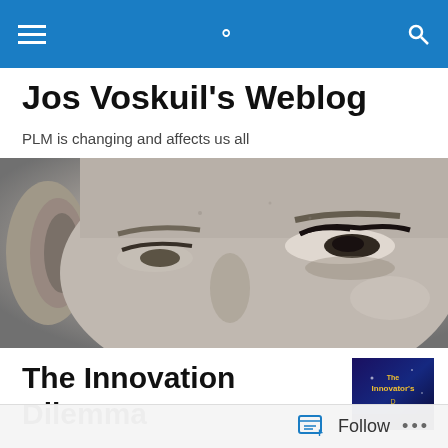Navigation bar with menu and search icons
Jos Voskuil's Weblog
PLM is changing and affects us all
[Figure (photo): Black and white close-up photograph of a person's face showing eyes and ear]
The Innovation Dilemma
[Figure (photo): Book cover of The Innovator's Dilemma with dark blue background and yellow title text]
Follow  ...